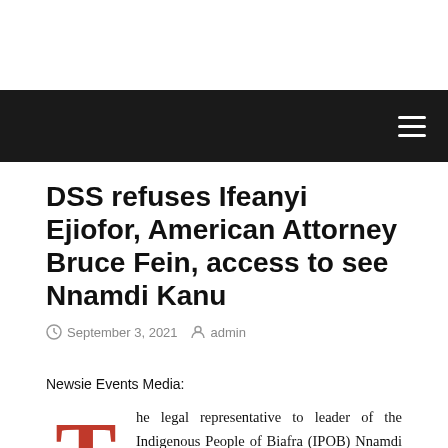DSS refuses Ifeanyi Ejiofor, American Attorney Bruce Fein, access to see Nnamdi Kanu
September 3, 2021   admin
Newsie Events Media:
The legal representative to leader of the Indigenous People of Biafra (IPOB) Nnamdi Kanu, Barrister Ifeanyi Ejiofor said that the Department of State Services prevented them from seeing their client,